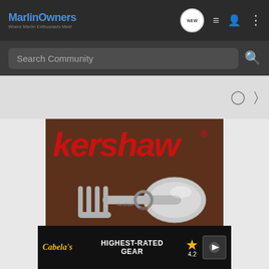MarlinOwners — Where Marlin Enthusiasts Meet
Search Community
[Figure (photo): Kershaw brand advertisement showing a spork/utensil tool and a small knife on a brown leather background, with red italic kershaw logo text at top]
[Figure (photo): Cabela's advertisement banner: HIGHEST-RATED GEAR, rating 4.2 stars, product thumbnail with play button]